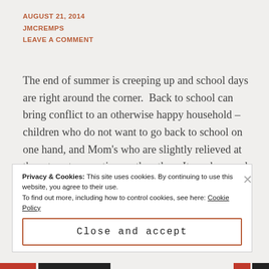AUGUST 21, 2014
JMCREMPS
LEAVE A COMMENT
The end of summer is creeping up and school days are right around the corner.  Back to school can bring conflict to an otherwise happy household – children who do not want to go back to school on one hand, and Mom's who are slightly relieved at the return to a routine on the other.  It can be a real challenge to get the kids on Mom's side of the back-to-school equation. One way to do so, besides
Privacy & Cookies: This site uses cookies. By continuing to use this website, you agree to their use.
To find out more, including how to control cookies, see here: Cookie Policy
Close and accept